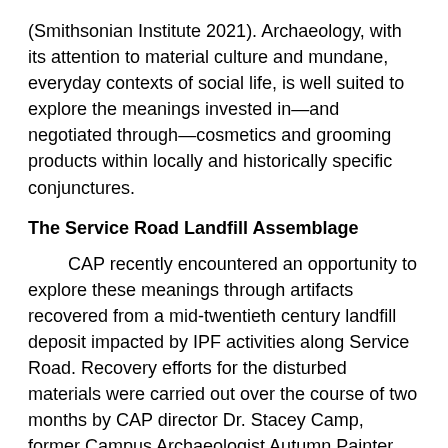(Smithsonian Institute 2021). Archaeology, with its attention to material culture and mundane, everyday contexts of social life, is well suited to explore the meanings invested in—and negotiated through—cosmetics and grooming products within locally and historically specific conjunctures.
The Service Road Landfill Assemblage
CAP recently encountered an opportunity to explore these meanings through artifacts recovered from a mid-twentieth century landfill deposit impacted by IPF activities along Service Road. Recovery efforts for the disturbed materials were carried out over the course of two months by CAP director Dr. Stacey Camp, former Campus Archaeologist Autumn Painter, and current Campus Archaeologist Jeff Burnett. Since then, a sizeable portion of this assemblage has been cleaned, processed, and catalogued by CAP fellows Aubree Marshall, Rhian Dunn and myself, with the assistance of Jeff Burnett. While much remains to be done with this collection before a comprehensive analysis can take place,